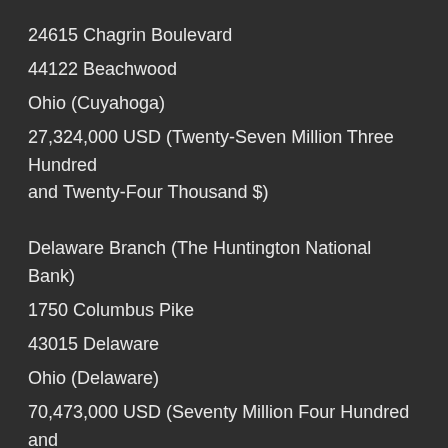24615 Chagrin Boulevard
44122 Beachwood
Ohio (Cuyahoga)
27,324,000 USD (Twenty-Seven Million Three Hundred and Twenty-Four Thousand $)
Delaware Branch (The Huntington National Bank)
1750 Columbus Pike
43015 Delaware
Ohio (Delaware)
70,473,000 USD (Seventy Million Four Hundred and Seventy-Three Thousand $)
Original information:
# FDIC Nombor Sijil: 6560
# Nombor ID ERB: 12311.00000000